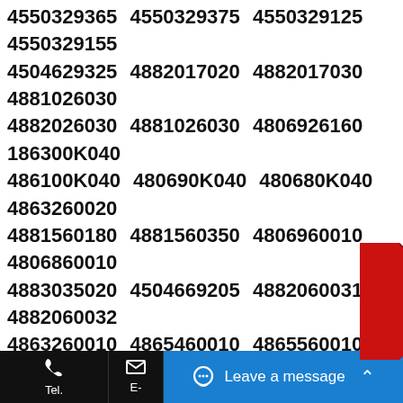4550329365 4550329375 4550329125 4550329155 4504629325 4882017020 4882017030 4881026030 4882026030 4881026030 4806926160 186300K040 486100K040 480690K040 480680K040 4863260020 4881560180 4881560350 4806960010 4806860010 4883035020 4504669205 4882060031 4882060032 4863260010 4865460010 4865560010 4863060010 4861060030 4864060010 4550319155 4550319195 4334019025 4333019085 4875016110 4860916140 4860916410 4550329765 4550428030 4547029185 4546029425 4882006040 4882028050 4333049185 4504749165 4504649225 4881575020 4806947050 4333029225 4333029325 4882042010 48609-42010 48609-42011 9038516001 9038516004 4550342020 4550349165 4550349055 4504749025 4504649095 4882042020
[Figure (illustration): Red ribbon/badge on the right side with 'Live Chat' text written vertically]
Tel.   E-   Leave a message   ^